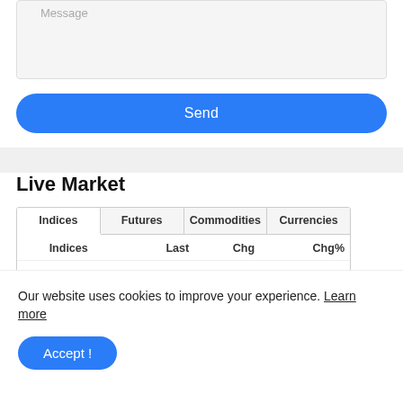[Figure (screenshot): Message text input area (gray background textarea)]
[Figure (screenshot): Blue 'Send' button]
Live Market
| Indices | Last | Chg | Chg% |
| --- | --- | --- | --- |
| ▼ DOW 30 | 33,706.70 | -292.30 | -0.86% |
| ▼ S&P 500 | 4,228.48 | -55.26 | -1.29% |
Our website uses cookies to improve your experience. Learn more
[Figure (screenshot): Blue 'Accept!' button]